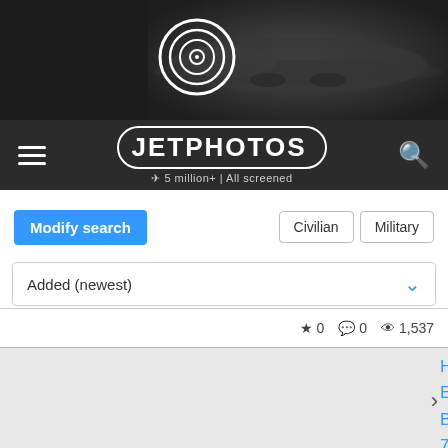[Figure (screenshot): JetPhotos website screenshot showing navigation bar with hamburger menu, JetPhotos logo, search icon, Modify search button, Civilian/Military filter buttons, Added (newest) sort dropdown, and two aviation photo listing entries with stats.]
JETPHOTOS | 5 million+ | All screened
Modify search
Civilian | Military
Added (newest)
★ 0  💬 0  👁 1,537
Harri Erho
Boeing 767-346
JA8399 full info | JA8399 photos
Japan Airlines (JAL)
★ 0  💬 0  👁 1,311